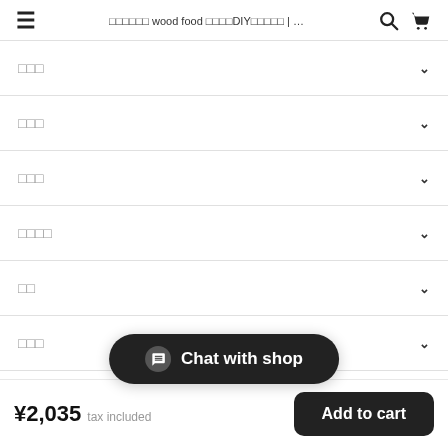≡  □□□□□□ wood food □□□□DIY□□□□□ | ...  🔍  🛒
□□□
□□□
□□□
□□□□
□□
□□□
□□□□□
[Figure (other): Chat with shop floating button overlay]
¥2,035  tax included    Add to cart